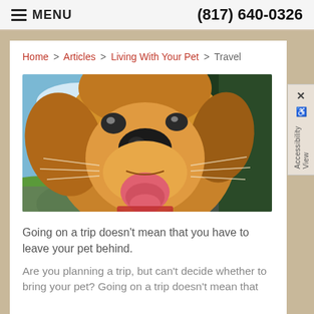MENU   (817) 640-0326
Home > Articles > Living With Your Pet > Travel
[Figure (photo): A happy golden retriever dog leaning out of a car window with its tongue out, background shows a road and green fields with a blue sky.]
Going on a trip doesn't mean that you have to leave your pet behind.
Are you planning a trip, but can't decide whether to bring your pet? Going on a trip doesn't mean that